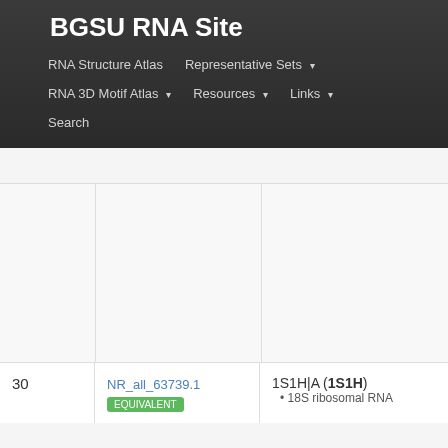BGSU RNA Site
RNA Structure Atlas | Representative Sets ▾
RNA 3D Motif Atlas ▾ | Resources ▾ | Links ▾
Search
| # | Equivalence Class | Representative |
| --- | --- | --- |
| 30 | NR_all_63739.1 | 1S1H|A (1S1H)
• 18S ribosomal RNA |